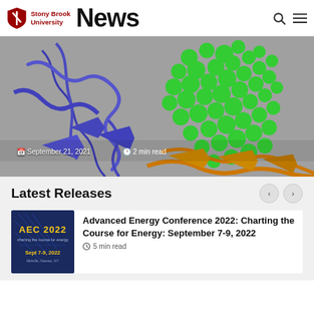Stony Brook University News
[Figure (photo): Molecular biology visualization showing protein structures rendered in blue ribbon/ribbon diagram style and green space-filling spheres on a gray background, with orange protein structures at lower right. Date overlay reads September 21, 2021 and 2 min read.]
Latest Releases
[Figure (screenshot): AEC 2022 conference banner image with dark blue background, showing 'AEC 2022' in yellow text, 'charting the course for energy' subtitle, and 'Sept 7-9, 2022' date info.]
Advanced Energy Conference 2022: Charting the Course for Energy: September 7-9, 2022
5 min read